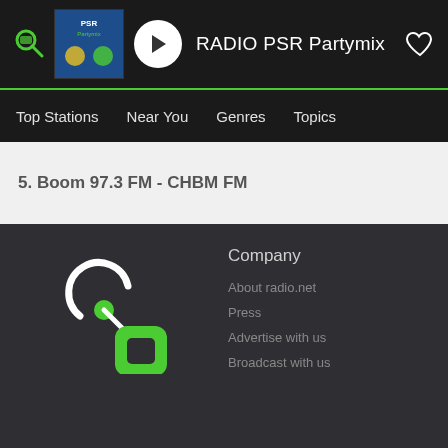[Figure (screenshot): Radio app header bar with search/logo icon, RADIO PSR Partymix station thumbnail, play button, station name text, and heart/favorite icon]
Top Stations  Near You  Genres  Topics
5. Boom 97.3 FM - CHBM FM
[Figure (logo): radio.net logo - circular antenna signal icon with green square rounded rectangle below, white and green on dark background]
Company
About radio.net
Press
Advertise with us
Broadcast with us
Legal
Service
Terms of use
Contact